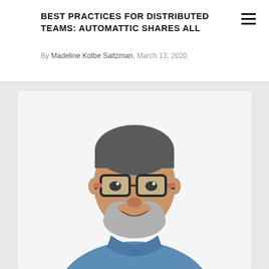BEST PRACTICES FOR DISTRIBUTED TEAMS: AUTOMATTIC SHARES ALL
By Madeline Kolbe Saltzman, March 13, 2020
[Figure (photo): Portrait photo of a middle-aged man with glasses and a grey beard, wearing a blue chambray shirt, smiling slightly against a white background.]